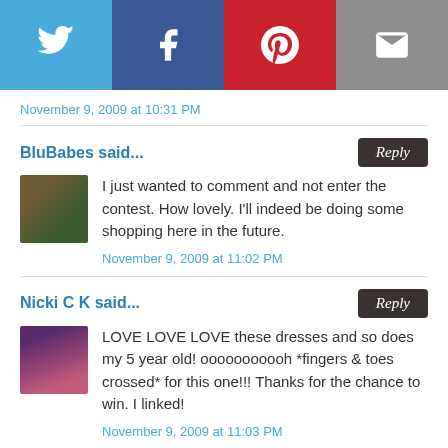[Figure (infographic): Social media sharing buttons bar: Twitter (blue), Facebook (dark blue), Pinterest (red), Email (grey)]
November 9, 2009 at 10:31 PM
BluBabes said...
I just wanted to comment and not enter the contest. How lovely. I'll indeed be doing some shopping here in the future.
November 9, 2009 at 11:02 PM
Nicki C K said...
LOVE LOVE LOVE these dresses and so does my 5 year old! ooooooooooh *fingers & toes crossed* for this one!!! Thanks for the chance to win. I linked!
November 9, 2009 at 11:03 PM